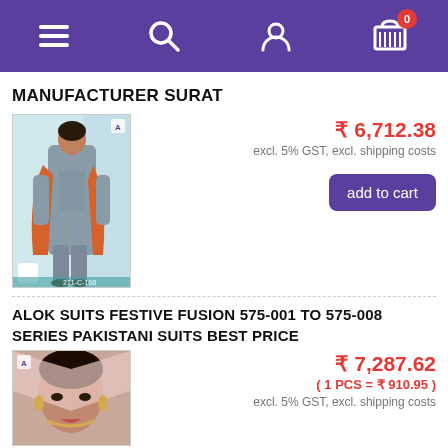Navigation bar with menu, search, user, and cart icons
MANUFACTURER SURAT
[Figure (photo): Photo of a woman wearing a grey and orange Pakistani suit/salwar kameez]
₹ 6,712.38
excl. 5% GST, excl. shipping costs
add to cart
ALOK SUITS FESTIVE FUSION 575-001 TO 575-008 SERIES PAKISTANI SUITS BEST PRICE
[Figure (photo): Photo of a woman wearing a pink Pakistani suit with jewellery]
₹ 7,287.62
( 1 PCS = ₹ 910.95 )
excl. 5% GST, excl. shipping costs